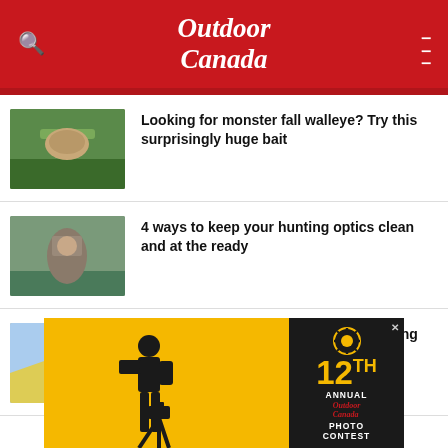Outdoor Canada
Looking for monster fall walleye? Try this surprisingly huge bait
4 ways to keep your hunting optics clean and at the ready
5 fascinating new numbers about hunting and fishing in Canada
[Figure (other): Advertisement banner: 12th Annual Outdoor Canada Photo Contest with silhouette of photographer and yellow background]